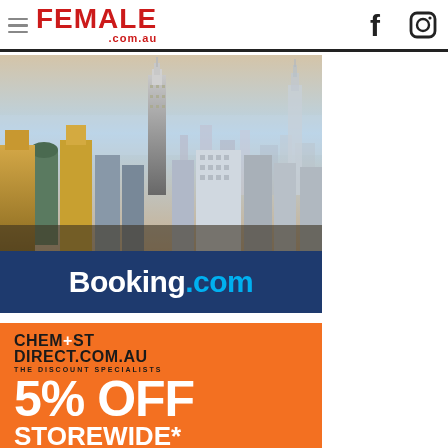FEMALE .com.au
[Figure (photo): Booking.com advertisement showing New York City skyline with Empire State Building, blue navy bar at bottom with Booking.com logo in white and blue text]
[Figure (infographic): Chemist Direct orange advertisement banner showing logo 'CHEM+ST DIRECT.COM.AU THE DISCOUNT SPECIALISTS' and '5% OFF STOREWIDE*' text in white on orange background]